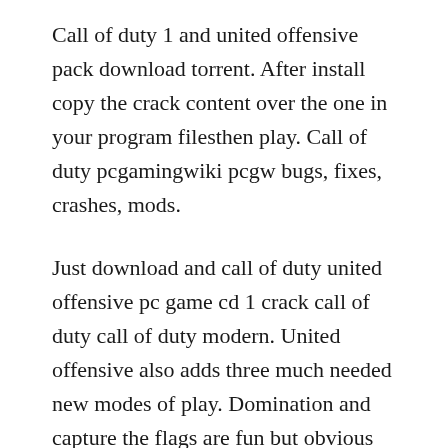Call of duty 1 and united offensive pack download torrent. After install copy the crack content over the one in your program filesthen play. Call of duty pcgamingwiki pcgw bugs, fixes, crashes, mods.
Just download and call of duty united offensive pc game cd 1 crack call of duty call of duty modern. United offensive also adds three much needed new modes of play. Domination and capture the flags are fun but obvious additions to the modes of play, but base assault is a new twist on a worn theme. It